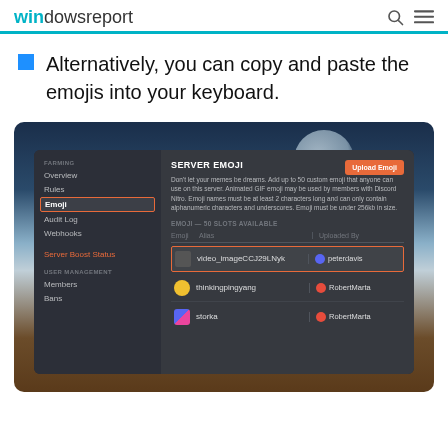windowsreport
Alternatively, you can copy and paste the emojis into your keyboard.
[Figure (screenshot): Discord server settings screenshot showing the SERVER EMOJI section with a dark UI. Left sidebar shows navigation items including Overview, Rules, Emoji (highlighted with orange border), Audit Log, Webhooks, Server Boost Status, and USER MANAGEMENT section with Members and Bans. Main panel shows SERVER EMOJI heading with description text and an Upload Emoji button. Below is a table with Emoji, Alias, and Uploaded By columns showing emoji entries: video_imageCCJ29LNyk (highlighted, uploaded by peterdavis), thinkingpingyang (uploaded by RobertMarta), storka (uploaded by RobertMarta).]